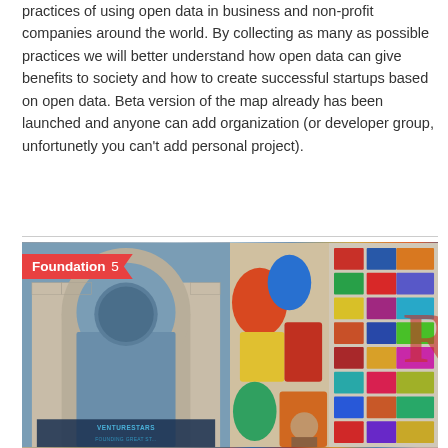practices of using open data in business and non-profit companies around the world. By collecting as many as possible practices we will better understand how open data can give benefits to society and how to create successful startups based on open data. Beta version of the map already has been launched and anyone can add organization (or developer group, unfortunetly you can't add personal project).
Читать Далее →
[Figure (photo): Composite image showing two photos side by side: left photo shows a building with an arched entrance and 'VENTURESTARS FOUNDING GREAT ST...' text; right photo shows a colorful mural/interior with vintage signage and a person reading.]